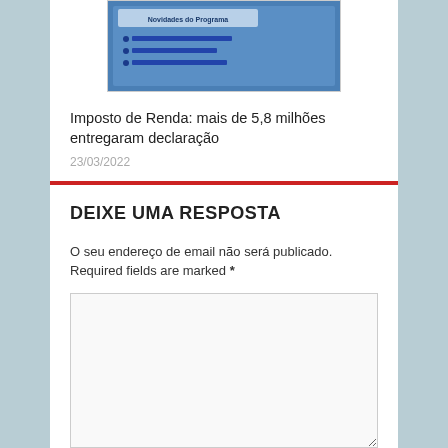[Figure (photo): Screenshot of a program document titled 'Novidades do Programa' with bullet points in Portuguese]
Imposto de Renda: mais de 5,8 milhões entregaram declaração
23/03/2022
DEIXE UMA RESPOSTA
O seu endereço de email não será publicado. Required fields are marked *
Nome *